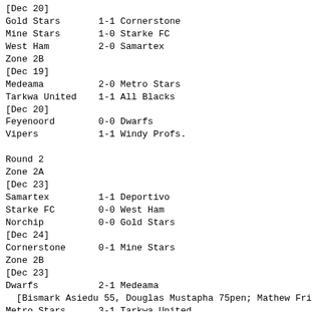[Dec 20]
Gold Stars       1-1 Cornerstone
Mine Stars       1-0 Starke FC
West Ham         2-0 Samartex
Zone 2B
[Dec 19]
Medeama          2-0 Metro Stars
Tarkwa United    1-1 All Blacks
[Dec 20]
Feyenoord        0-0 Dwarfs
Vipers           1-1 Windy Profs.
Round 2
Zone 2A
[Dec 23]
Samartex         1-1 Deportivo
Starke FC        0-0 West Ham
Norchip          0-0 Gold Stars
[Dec 24]
Cornerstone      0-1 Mine Stars
Zone 2B
[Dec 23]
Dwarfs           2-1 Medeama
[Bismark Asiedu 55, Douglas Mustapha 75pen; Mathew Frin
Metro Stars      3-1 Tarkwa United
Windy Profs.     1-0 Feyenoord
[Dec 24]
All Blacks        0-0 Vipers
Round 3